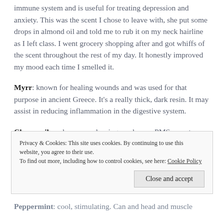immune system and is useful for treating depression and anxiety. This was the scent I chose to leave with, she put some drops in almond oil and told me to rub it on my neck hairline as I left class. I went grocery shopping after and got whiffs of the scent throughout the rest of my day. It honestly improved my mood each time I smelled it.
Myrr: known for healing wounds and was used for that purpose in ancient Greece. It's a really thick, dark resin. It may assist in reducing inflammation in the digestive system.
Chamomile: reduces mood swings and eases PMS symptoms.
Privacy & Cookies: This site uses cookies. By continuing to use this website, you agree to their use. To find out more, including how to control cookies, see here: Cookie Policy
Peppermint: cool, stimulating. Can and head and muscle...